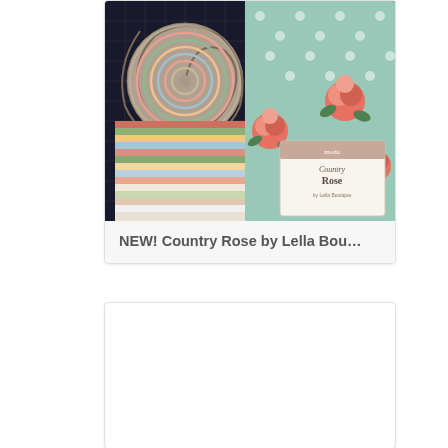[Figure (photo): Photo of Country Rose fabric collection by Lella Boutique showing jelly roll strips, fabric bundles with floral pattern of pink roses on mint/teal background, and fabric packaging with 'Country Rose' label by Moda]
NEW! Country Rose by Lella Bou…
[Figure (photo): Partially visible card or image block, content not visible]